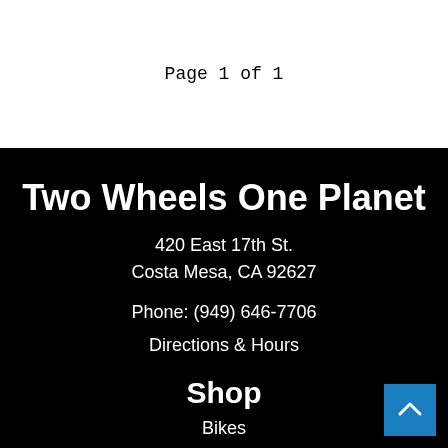Page 1 of 1
Two Wheels One Planet
420 East 17th St.
Costa Mesa, CA 92627
Phone: (949) 646-7706
Directions & Hours
Shop
Bikes